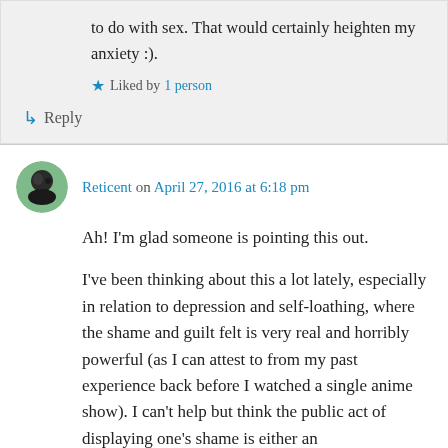to do with sex. That would certainly heighten my anxiety :).
Liked by 1 person
Reply
Reticent on April 27, 2016 at 6:18 pm
Ah! I'm glad someone is pointing this out.
I've been thinking about this a lot lately, especially in relation to depression and self-loathing, where the shame and guilt felt is very real and horribly powerful (as I can attest to from my past experience back before I watched a single anime show). I can't help but think the public act of displaying one's shame is either an